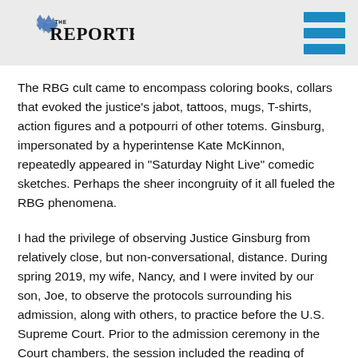The Reporter (logo with Star of David)
The RBG cult came to encompass coloring books, collars that evoked the justice’s jabot, tattoos, mugs, T-shirts, action figures and a potpourri of other totems. Ginsburg, impersonated by a hyperintense Kate McKinnon, repeatedly appeared in “Saturday Night Live” comedic sketches. Perhaps the sheer incongruity of it all fueled the RBG phenomena.
I had the privilege of observing Justice Ginsburg from relatively close, but non-conversational, distance. During spring 2019, my wife, Nancy, and I were invited by our son, Joe, to observe the protocols surrounding his admission, along with others, to practice before the U.S. Supreme Court. Prior to the admission ceremony in the Court chambers, the session included the reading of decisions, two of which were delivered, clearly and precisely, by Ginsburg. Following the session, the newly admitted